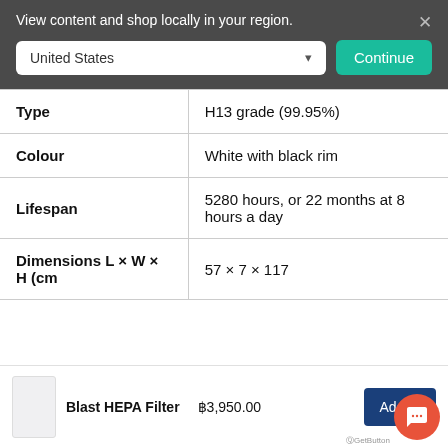View content and shop locally in your region.
| Property | Value |
| --- | --- |
| Type | H13 grade (99.95%) |
| Colour | White with black rim |
| Lifespan | 5280 hours, or 22 months at 8 hours a day |
| Dimensions L × W × H (cm | 57 × 7 × 117 |
Blast HEPA Filter  ฿3,950.00  Add to